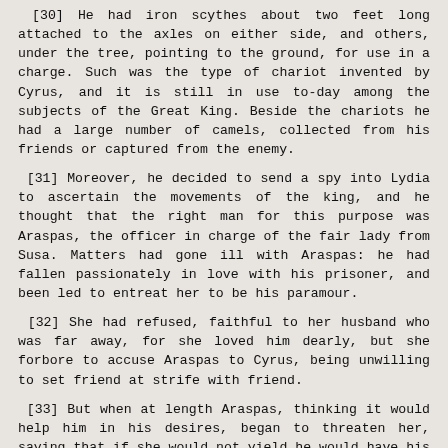[30] He had iron scythes about two feet long attached to the axles on either side, and others, under the tree, pointing to the ground, for use in a charge. Such was the type of chariot invented by Cyrus, and it is still in use to-day among the subjects of the Great King. Beside the chariots he had a large number of camels, collected from his friends or captured from the enemy.
[31] Moreover, he decided to send a spy into Lydia to ascertain the movements of the king, and he thought that the right man for this purpose was Araspas, the officer in charge of the fair lady from Susa. Matters had gone ill with Araspas: he had fallen passionately in love with his prisoner, and been led to entreat her to be his paramour.
[32] She had refused, faithful to her husband who was far away, for she loved him dearly, but she forbore to accuse Araspas to Cyrus, being unwilling to set friend at strife with friend.
[33] But when at length Araspas, thinking it would help him in his desires, began to threaten her, saying that if she would not yield he would have his will of her by force, then in her dread of violence she could keep the matter hid no longer, and she sent her eunuch to Cyrus with orders to tell him everything.
[34] And when Cyrus heard it he smiled over the man who had boasted that he was superior to love, and sent Artabazus back with the eunuch to tell Araspas that he must use no violence against such a woman, but if he could persuade her, he might do so.